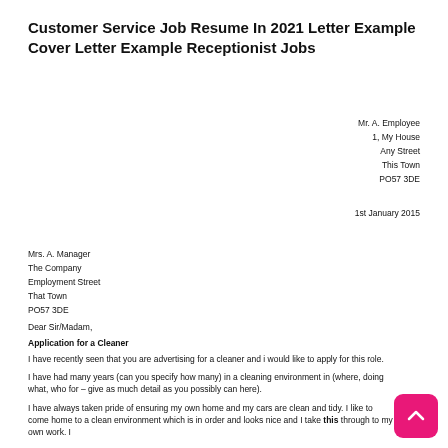Customer Service Job Resume In 2021 Letter Example Cover Letter Example Receptionist Jobs
Mr. A. Employee
1, My House
Any Street
This Town
PO57 3DE
1st January 2015
Mrs. A. Manager
The Company
Employment Street
That Town
PO57 3DE
Dear Sir/Madam,
Application for a Cleaner
I have recently seen that you are advertising for a cleaner and i would like to apply for this role.
I have had many years (can you specify how many) in a cleaning environment in (where, doing what, who for – give as much detail as you possibly can here).
I have always taken pride of ensuring my own home and my cars are clean and tidy. I like to come home to a clean environment which is in order and looks nice and I take this through to my own work. I